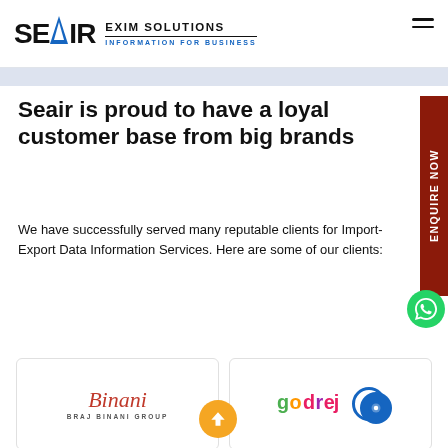SEAIR EXIM SOLUTIONS — INFORMATION FOR BUSINESS
Seair is proud to have a loyal customer base from big brands
We have successfully served many reputable clients for Import-Export Data Information Services. Here are some of our clients:
[Figure (logo): Binani - Braj Binani Group logo card]
[Figure (logo): Godrej logo card]